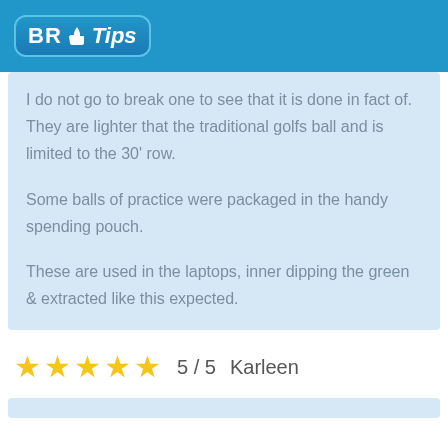BR Tips
I do not go to break one to see that it is done in fact of. They are lighter that the traditional golfs ball and is limited to the 30' row.

Some balls of practice were packaged in the handy spending pouch.

These are used in the laptops, inner dipping the green & extracted like this expected.
5 / 5  Karleen